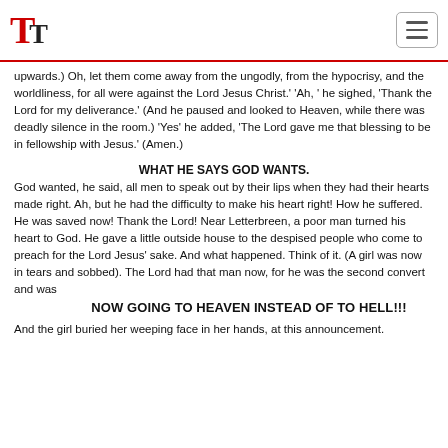TT logo and navigation
upwards.) Oh, let them come away from the ungodly, from the hypocrisy, and the worldliness, for all were against the Lord Jesus Christ.' 'Ah, ' he sighed, 'Thank the Lord for my deliverance.' (And he paused and looked to Heaven, while there was deadly silence in the room.) 'Yes' he added, 'The Lord gave me that blessing to be in fellowship with Jesus.' (Amen.)
WHAT HE SAYS GOD WANTS.
God wanted, he said, all men to speak out by their lips when they had their hearts made right. Ah, but he had the difficulty to make his heart right! How he suffered. He was saved now! Thank the Lord! Near Letterbreen, a poor man turned his heart to God. He gave a little outside house to the despised people who come to preach for the Lord Jesus' sake. And what happened. Think of it. (A girl was now in tears and sobbed). The Lord had that man now, for he was the second convert and was
NOW GOING TO HEAVEN INSTEAD OF TO HELL!!!
And the girl buried her weeping face in her hands, at this announcement.